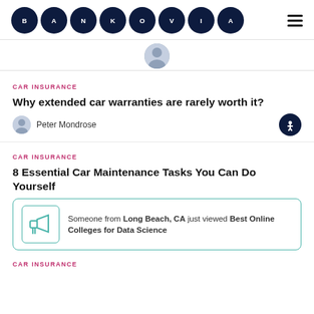[Figure (logo): Bankovia logo — dark navy blue circles each containing a letter: B A N K O V I A]
[Figure (photo): Small circular avatar photo of a person, partially visible]
CAR INSURANCE
Why extended car warranties are rarely worth it?
Peter Mondrose
CAR INSURANCE
8 Essential Car Maintenance Tasks You Can Do Yourself
Someone from Long Beach, CA just viewed Best Online Colleges for Data Science
CAR INSURANCE